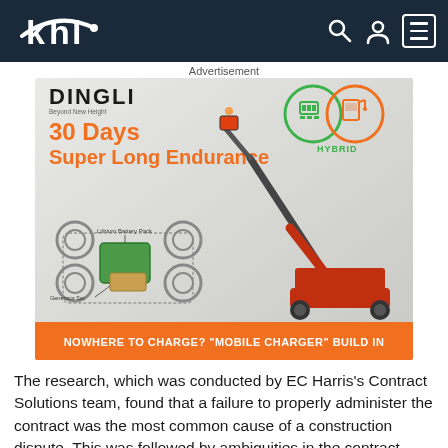KHL
[Figure (photo): Dingli advertisement showing a hybrid boom lift with lithium battery pack and generator set. Text reads: DINGLI, 30 Days Super Long Endurance, HYBRID, Lithium Battery Pack, Generator Set, NOWHERE TO CHARGE? MOBILE CHARGER BUILD IN]
The research, which was conducted by EC Harris's Contract Solutions team, found that a failure to properly administer the contract was the most common cause of a construction dispute. This was followed by ambiguities in the contract document, a failure to make interim